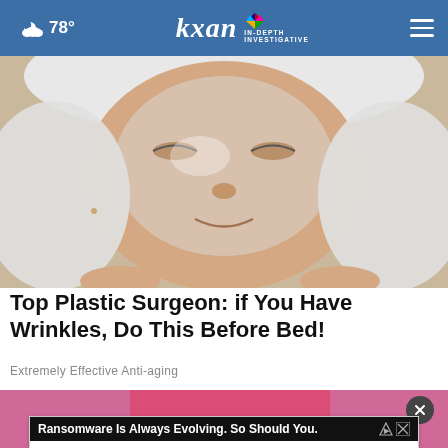☁ 78° | kxan IN-DEPTH INVESTIGATIVE
[Figure (photo): Close-up of a woman's face receiving a skincare treatment, with a white towel around her head and a clear gel mask applied to her face]
Top Plastic Surgeon: if You Have Wrinkles, Do This Before Bed!
Extremely Effective Anti-aging
[Figure (photo): Partial image of a person in a pink/magenta shirt, cropped]
Ransomware Is Always Evolving. So Should You.
paloalto | UNIT 42